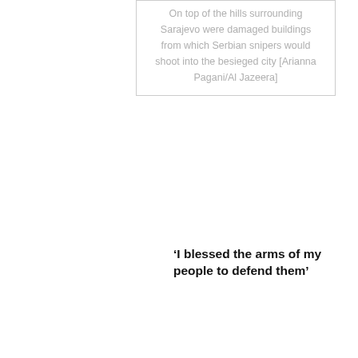On top of the hills surrounding Sarajevo were damaged buildings from which Serbian snipers would shoot into the besieged city [Arianna Pagani/Al Jazeera]
‘I blessed the arms of my people to defend them’
Grbavica was split from the rest of Sarajevo until the signing of the peace agreements in November 1995. During the conflict it was controlled by Serb forces and was the frontline of the besieged city.
When the war ended and the country was divided into two largely ethnically homogenous entities – Republika Srpska,